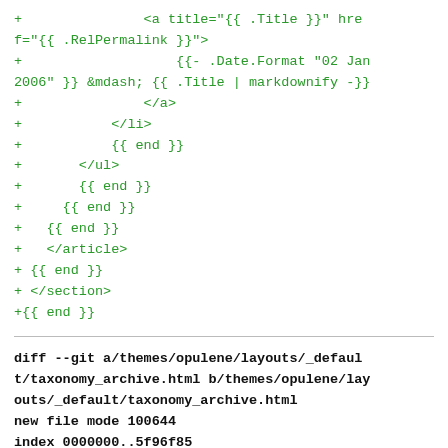+               <a title="{{ .Title }}" href="{{ .RelPermalink }}">
+                   {{- .Date.Format "02 Jan 2006" }} &mdash; {{ .Title | markdownify -}}
+               </a>
+           </li>
+           {{ end }}
+       </ul>
+       {{ end }}
+     {{ end }}
+   {{ end }}
+   </article>
+ {{ end }}
+ </section>
+{{ end }}
diff --git a/themes/opulene/layouts/_default/taxonomy_archive.html b/themes/opulene/layouts/_default/taxonomy_archive.html
new file mode 100644
index 0000000..5f96f85